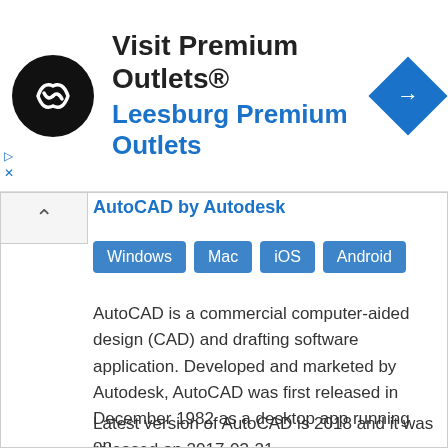[Figure (infographic): Advertisement banner for Premium Outlets. Features circular black logo with white infinity-style arrows symbol, bold heading 'Visit Premium Outlets®', blue subheading 'Leesburg Premium Outlets', and a blue diamond navigation icon on the right.]
AutoCAD by Autodesk
Windows
Mac
iOS
Android
AutoCAD is a commercial computer-aided design (CAD) and drafting software application. Developed and marketed by Autodesk, AutoCAD was first released in December 1982 as a desktop app running on...
Latest version of AutoCAD is 2018 and it was released on 2017-03-21.
Tags: Autocad, 1982 Software, Autodesk, Irix Software, Computeraided Design Software, Ios Software, Classic Mac Os Software, Android Software